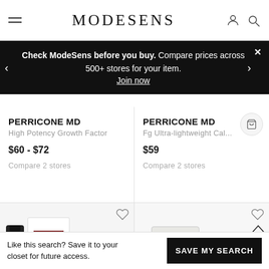MODESENS
Check ModeSens before you buy. Compare prices across 500+ stores for your item. Join now
PERRICONE MD
High Potency Growth Factor
$60 - $72
Compare 2 stores
PERRICONE MD
Fg Ultra-lightweight Cal...
$59
Compare 2 stores
[Figure (photo): Perricone MD product bottles in black and white packaging on left card]
[Figure (photo): Perricone MD white cream tube product on right card]
Like this search? Save it to your closet for future access.
SAVE MY SEARCH